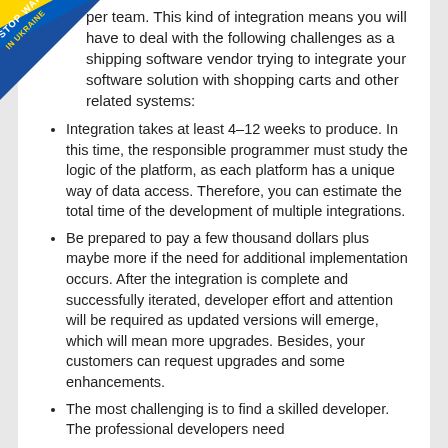[Figure (illustration): Stop War in Ukraine diagonal badge/ribbon in top-left corner with blue and yellow colors]
per team. This kind of integration means you will have to deal with the following challenges as a shipping software vendor trying to integrate your software solution with shopping carts and other related systems:
Integration takes at least 4–12 weeks to produce. In this time, the responsible programmer must study the logic of the platform, as each platform has a unique way of data access. Therefore, you can estimate the total time of the development of multiple integrations.
Be prepared to pay a few thousand dollars plus maybe more if the need for additional implementation occurs. After the integration is complete and successfully iterated, developer effort and attention will be required as updated versions will emerge, which will mean more upgrades. Besides, your customers can request upgrades and some enhancements.
The most challenging is to find a skilled developer. The professional developers need